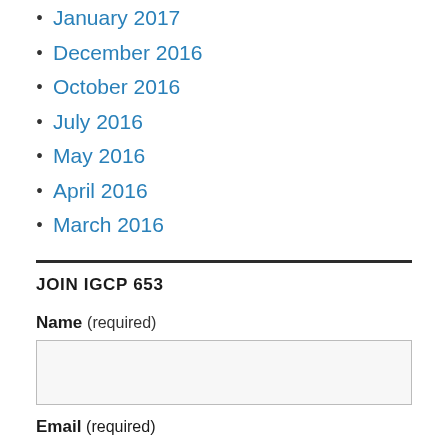January 2017
December 2016
October 2016
July 2016
May 2016
April 2016
March 2016
JOIN IGCP 653
Name (required)
Email (required)